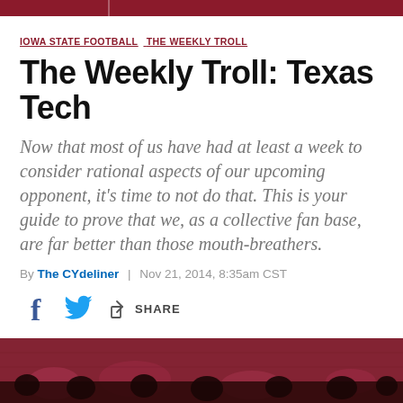IOWA STATE FOOTBALL  THE WEEKLY TROLL
The Weekly Troll: Texas Tech
Now that most of us have had at least a week to consider rational aspects of our upcoming opponent, it's time to not do that. This is your guide to prove that we, as a collective fan base, are far better than those mouth-breathers.
By The CYdeliner | Nov 21, 2014, 8:35am CST
[Figure (other): Social sharing icons: Facebook, Twitter, and Share button]
[Figure (photo): Bottom portion showing crowd at a football stadium, maroon/red colored crowd in stands]